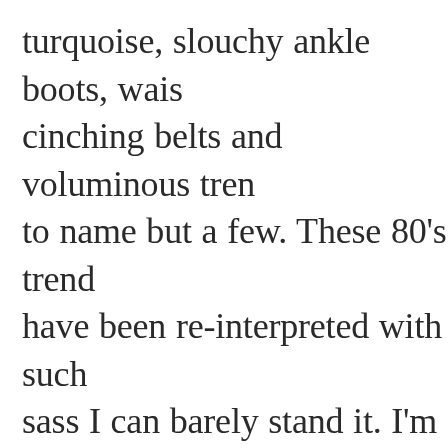turquoise, slouchy ankle boots, waist-cinching belts and voluminous trends to name but a few. These 80's trends have been re-interpreted with such sass I can barely stand it. I'm thoroughly impressed with the fashion industry on this one.
Sarah, I can't wait to see you in your new skinnies. I know you'll ROCK the